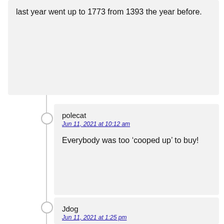last year went up to 1773 from 1393 the year before.
polecat
Jun 11, 2021 at 10:12 am

Everybody was too ‘cooped up’ to buy!
Jdog
Jun 11, 2021 at 1:25 pm

I think most people last year had a reality check and realized how vulnerable their situation was. My guess is most were more concerned